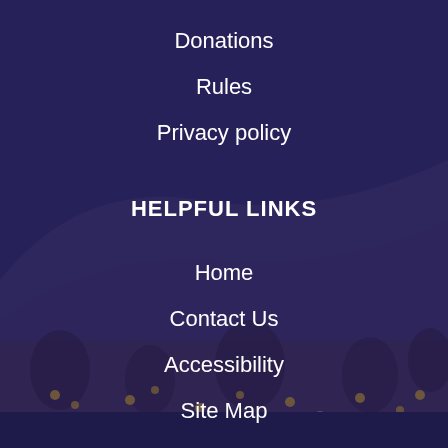Donations
Rules
Privacy policy
HELPFUL LINKS
Home
Contact Us
Accessibility
Site Map
Copyright Notices